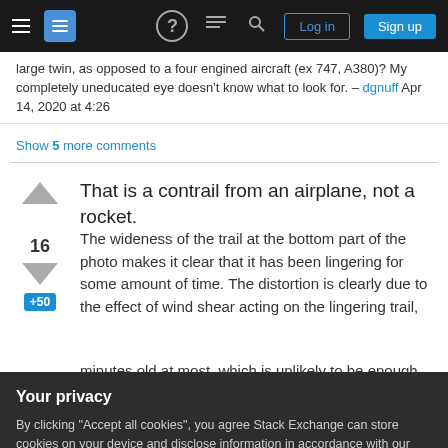Stack Exchange navigation bar with hamburger menu, logo, help, chat, search icons, Log in and Sign up buttons
large twin, as opposed to a four engined aircraft (ex 747, A380)? My completely uneducated eye doesn't know what to look for. – dgnuff Apr 14, 2020 at 4:26
Show 5 more comments
That is a contrail from an airplane, not a rocket.
The wideness of the trail at the bottom part of the photo makes it clear that it has been lingering for some amount of time. The distortion is clearly due to the effect of wind shear acting on the lingering trail,
Your privacy
By clicking "Accept all cookies", you agree Stack Exchange can store cookies on your device and disclose information in accordance with our Cookie Policy.
Accept all cookies   Customize settings
minutes old at most, which is unlikely to be enough